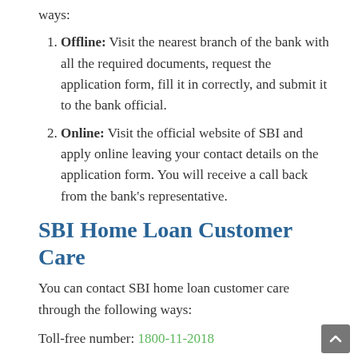ways:
Offline: Visit the nearest branch of the bank with all the required documents, request the application form, fill it in correctly, and submit it to the bank official.
Online: Visit the official website of SBI and apply online leaving your contact details on the application form. You will receive a call back from the bank's representative.
SBI Home Loan Customer Care
You can contact SBI home loan customer care through the following ways:
Toll-free number: 1800-11-2018